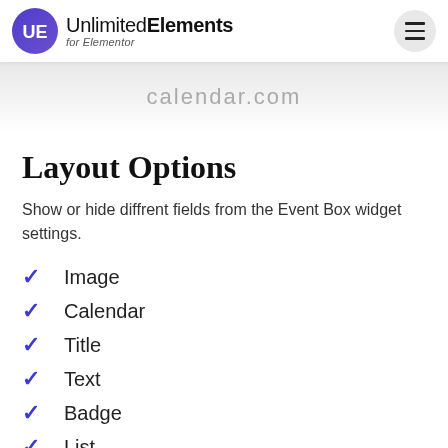Unlimited Elements for Elementor
Layout Options
Show or hide diffrent fields from the Event Box widget settings.
Image
Calendar
Title
Text
Badge
List